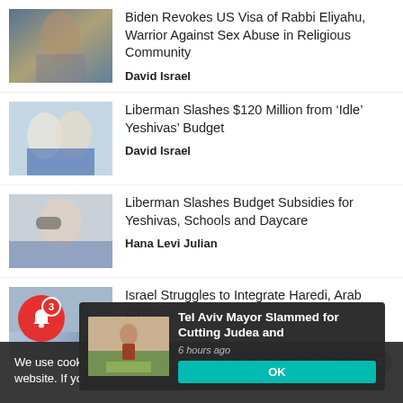[Figure (photo): Rabbi in black hat against golden dome background]
Biden Revokes US Visa of Rabbi Eliyahu, Warrior Against Sex Abuse in Religious Community
David Israel
[Figure (photo): Two men in suits, one in blue jacket]
Liberman Slashes $120 Million from ‘Idle’ Yeshivas’ Budget
David Israel
[Figure (photo): Man with glasses and gray hair in blue suit]
Liberman Slashes Budget Subsidies for Yeshivas, Schools and Daycare
Hana Levi Julian
[Figure (photo): Partial image of person near building]
Israel Struggles to Integrate Haredi, Arab Workers
We use cookies to ensure that we give you the best experience on our website. If yo
[Figure (illustration): Animation still of figure walking on green path in desert]
Tel Aviv Mayor Slammed for Cutting Judea and
6 hours ago